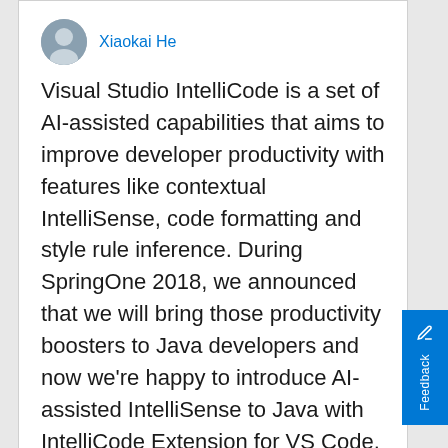[Figure (photo): Avatar photo of Xiaokai He, a person in a blue/grey shirt]
Xiaokai He
Visual Studio IntelliCode is a set of AI-assisted capabilities that aims to improve developer productivity with features like contextual IntelliSense, code formatting and style rule inference. During SpringOne 2018, we announced that we will bring those productivity boosters to Java developers and now we're happy to introduce AI-assisted IntelliSense to Java with IntelliCode Extension for VS Code.
0  0
IntelliCode  Java  Maven